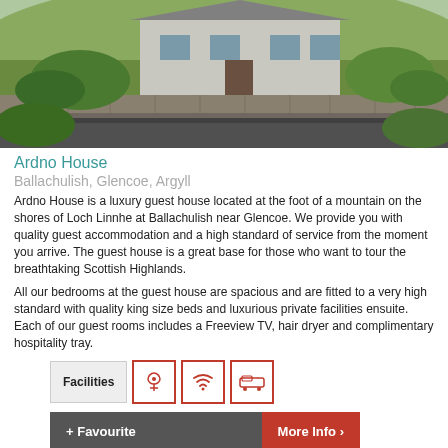[Figure (photo): Exterior photo of Ardno House, a guest house with stone wall terracing and garden, at foot of a mountain]
Ardno House
Ballachulish, Glencoe, Argyll
Ardno House is a luxury guest house located at the foot of a mountain on the shores of Loch Linnhe at Ballachulish near Glencoe. We provide you with quality guest accommodation and a high standard of service from the moment you arrive. The guest house is a great base for those who want to tour the breathtaking Scottish Highlands.
All our bedrooms at the guest house are spacious and are fitted to a very high standard with quality king size beds and luxurious private facilities ensuite. Each of our guest rooms includes a Freeview TV, hair dryer and complimentary hospitality tray.
Facilities [icons: flower/spa, wifi, parking]
+ Favourite  More Info >